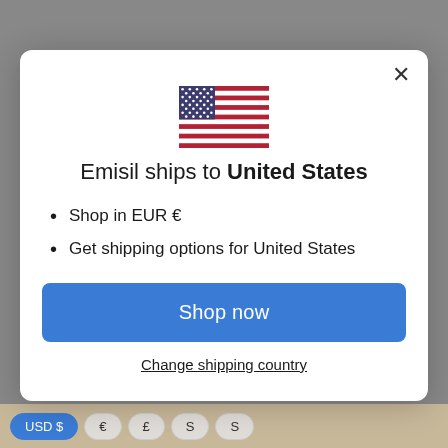[Figure (screenshot): Website modal dialog for Emisil shipping country selection, showing US flag, title, bullet points, Shop now button, and Change shipping country link, with bottom currency selector bar visible]
Emisil ships to United States
Shop in EUR €
Get shipping options for United States
Shop now
Change shipping country
USD $ € £ S S